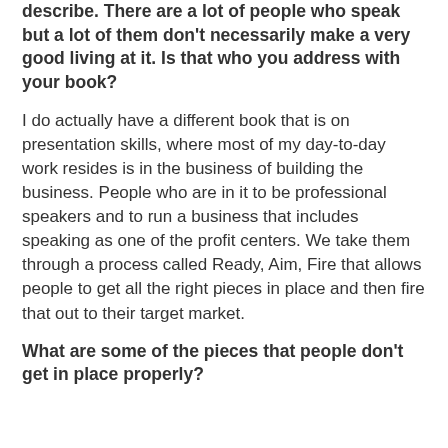describe. There are a lot of people who speak but a lot of them don't necessarily make a very good living at it. Is that who you address with your book?
I do actually have a different book that is on presentation skills, where most of my day-to-day work resides is in the business of building the business. People who are in it to be professional speakers and to run a business that includes speaking as one of the profit centers. We take them through a process called Ready, Aim, Fire that allows people to get all the right pieces in place and then fire that out to their target market.
What are some of the pieces that people don't get in place properly?